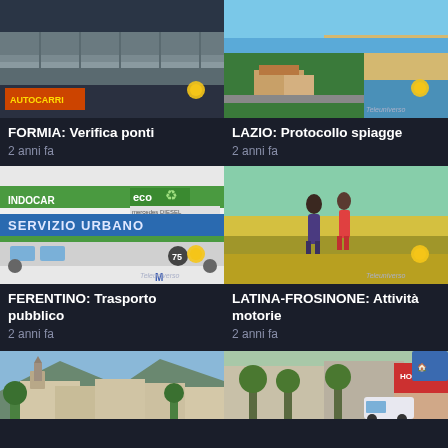[Figure (photo): Underside of a concrete bridge/overpass structure]
FORMIA: Verifica ponti
2 anni fa
[Figure (photo): Aerial view of a beach with umbrellas and trees]
LAZIO: Protocollo spiagge
2 anni fa
[Figure (photo): An INDOCAR city bus with SERVIZIO URBANO written on it, eco/green branding]
FERENTINO: Trasporto pubblico
2 anni fa
[Figure (photo): Two women walking through a field of yellow flowers]
LATINA-FROSINONE: Attività motorie
2 anni fa
[Figure (photo): Town square with buildings and mountains]
[Figure (photo): Street scene with trees and a vehicle, red building sign]